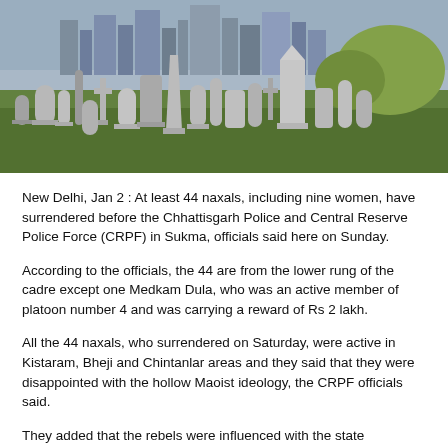[Figure (photo): A cemetery with numerous gravestones and headstones on a green lawn, with city buildings visible in the background under a partly cloudy sky.]
New Delhi, Jan 2 : At least 44 naxals, including nine women, have surrendered before the Chhattisgarh Police and Central Reserve Police Force (CRPF) in Sukma, officials said here on Sunday.
According to the officials, the 44 are from the lower rung of the cadre except one Medkam Dula, who was an active member of platoon number 4 and was carrying a reward of Rs 2 lakh.
All the 44 naxals, who surrendered on Saturday, were active in Kistaram, Bheji and Chintanlar areas and they said that they were disappointed with the hollow Maoist ideology, the CRPF officials said.
They added that the rebels were influenced with the state government's rehabilitation programme, called JR...